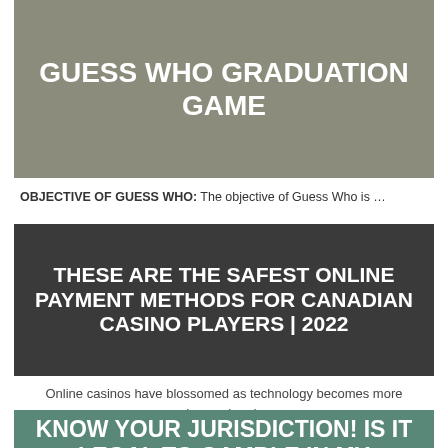[Figure (other): Dark olive/gray banner image with bold white uppercase text: GUESS WHO GRADUATION GAME]
OBJECTIVE OF GUESS WHO: The objective of Guess Who is …
[Figure (other): Dark gray banner with bold white uppercase text: THESE ARE THE SAFEST ONLINE PAYMENT METHODS FOR CANADIAN CASINO PLAYERS | 2022]
Online casinos have blossomed as technology becomes more advanced and …
[Figure (other): Teal/green partially visible banner with bold white uppercase text: KNOW YOUR JURISDICTION! IS IT LEGAL TO GAMBLE IN MY...]